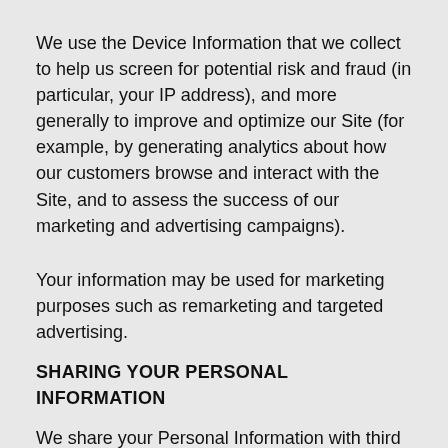We use the Device Information that we collect to help us screen for potential risk and fraud (in particular, your IP address), and more generally to improve and optimize our Site (for example, by generating analytics about how our customers browse and interact with the Site, and to assess the success of our marketing and advertising campaigns).
Your information may be used for marketing purposes such as remarketing and targeted advertising.
SHARING YOUR PERSONAL INFORMATION
We share your Personal Information with third parties to help us use your Personal Information, as described above. For example, we use Shopify to power our online store--you can read more about how Shopify uses your Personal Information here: https://www.shopify.com/legal/privacy. We also use Google Analytics to help us understand how our customers use the